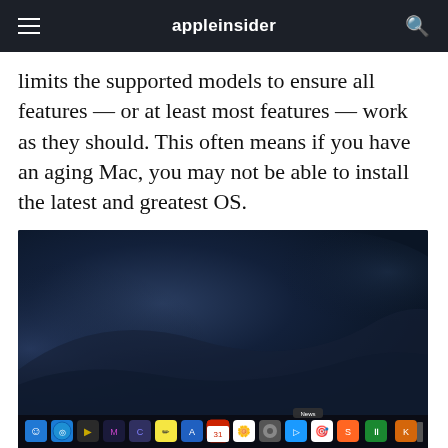appleinsider
limits the supported models to ensure all features — or at least most features — work as they should. This often means if you have an aging Mac, you may not be able to install the latest and greatest OS.
[Figure (photo): MacBook Pro laptop showing macOS Mojave desktop wallpaper with Dock visible at the bottom, labeled 'MacBook Pro']
MacBook Pro